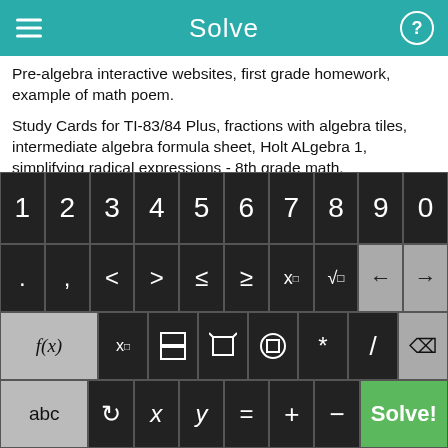Solve
Pre-algebra interactive websites, first grade homework, example of math poem.
Study Cards for TI-83/84 Plus, fractions with algebra tiles, intermediate algebra formula sheet, Holt ALgebra 1, simplifying radical expressions - 8th grade math.
Proportion worksheet, dividing fractional exponents, Algebraic Operations study guide/ download, gr10 math, examples of math trivia.
[Figure (screenshot): Calculator keyboard with digit keys 1-9,0; symbol row with . , < > ≤ ≥ x^□ √□ and arrow keys; function row with f(x), x subscript, fraction, absolute value, parentheses, *, /, backspace; bottom row with abc, curved arrow, x, y, =, +, -, and green Solve! button.]